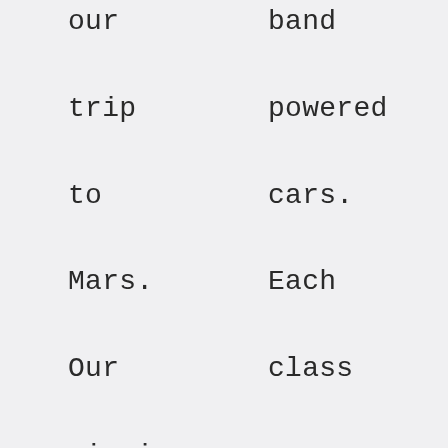our trip to Mars. Our mission will include landing safely on the planet's surface, creating
band powered cars. Each class we will discover new ways to set materials in motion using